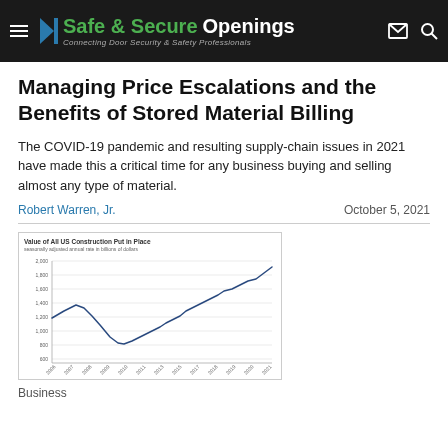Safe & Secure Openings — Connecting Door Security & Safety Professionals
Managing Price Escalations and the Benefits of Stored Material Billing
The COVID-19 pandemic and resulting supply-chain issues in 2021 have made this a critical time for any business buying and selling almost any type of material.
Robert Warren, Jr.    October 5, 2021
[Figure (line-chart): Line chart showing seasonally adjusted annual rate in billions of dollars, trending from ~1200 down to ~800 around 2011 then rising steeply to ~1900 by 2021.]
Business